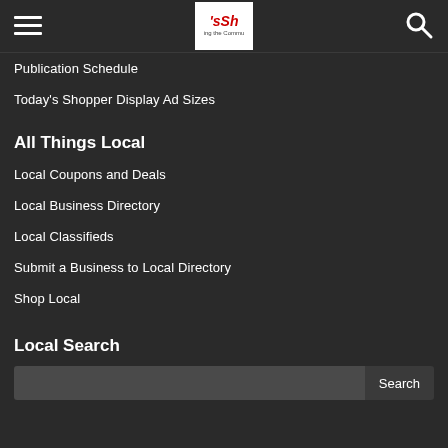Navigation header with hamburger menu, logo, and search icon
Publication Schedule
Today's Shopper Display Ad Sizes
All Things Local
Local Coupons and Deals
Local Business Directory
Local Classifieds
Submit a Business to Local Directory
Shop Local
Local Search
Search